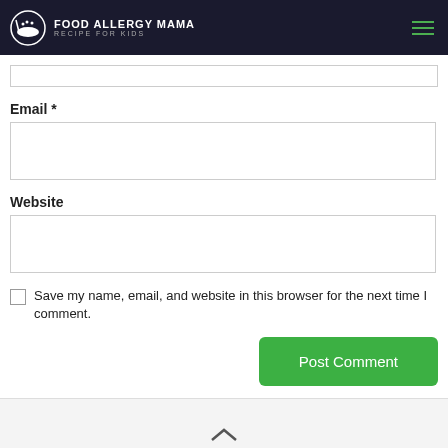FOOD ALLERGY MAMA - RECIPE FOR KIDS
Email *
Website
Save my name, email, and website in this browser for the next time I comment.
Post Comment